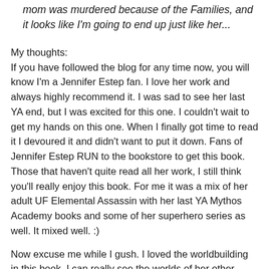mom was murdered because of the Families, and it looks like I'm going to end up just like her...
My thoughts:
If you have followed the blog for any time now, you will know I'm a Jennifer Estep fan. I love her work and always highly recommend it. I was sad to see her last YA end, but I was excited for this one. I couldn't wait to get my hands on this one. When I finally got time to read it I devoured it and didn't want to put it down. Fans of Jennifer Estep RUN to the bookstore to get this book. Those that haven't quite read all her work, I still think you'll really enjoy this book. For me it was a mix of her adult UF Elemental Assassin with her last YA Mythos Academy books and some of her superhero series as well. It mixed well. :)
Now excuse me while I gush. I loved the worldbuilding in this book. I can really see the worlds of her other books blended well here. It also reminded me a bit of a Romeo and Juliet take. Not the romance (although there are hints of that, but not with our main couple but with a past romance) but with the world where to main powerful families feud. There is also a renaissance faire feel to the tourist trap that feeds the